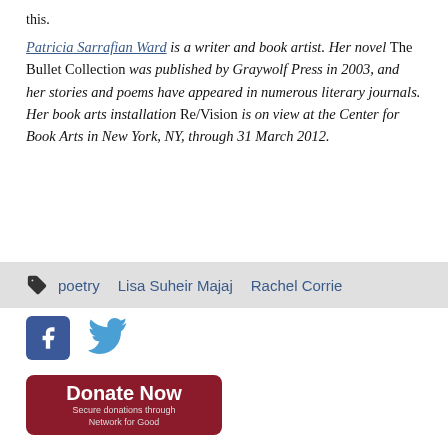this.
Patricia Sarrafian Ward is a writer and book artist. Her novel The Bullet Collection was published by Graywolf Press in 2003, and her stories and poems have appeared in numerous literary journals. Her book arts installation Re/Vision is on view at the Center for Book Arts in New York, NY, through 31 March 2012.
poetry   Lisa Suheir Majaj   Rachel Corrie
[Figure (infographic): Facebook and Twitter social sharing icons]
[Figure (infographic): Donate Now button - Secure donations through Network for Good]